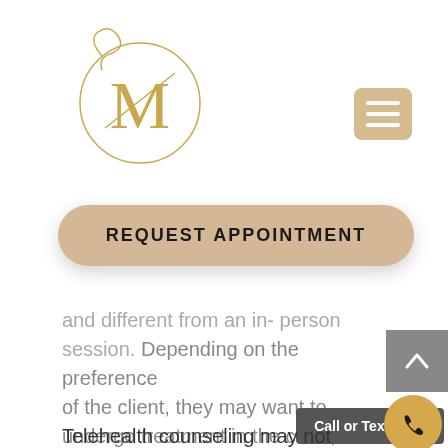[Figure (logo): Circular gold monogram logo with decorative letter M and ornamental swirls]
[Figure (other): Gold/tan rounded square hamburger menu button with three white horizontal lines]
REQUEST APPOINTMENT
and different from an in-person session. Depending on the preference of the client, they may want to undergo treatment in the clinic, while some may want to do it in the comfort of their own place.
Call or Text now!
Telehealth counseling may not work for